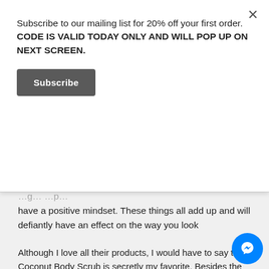Subscribe to our mailing list for 20% off your first order. CODE IS VALID TODAY ONLY AND WILL POP UP ON NEXT SCREEN.
[Figure (screenshot): Dark grey Subscribe button]
have a positive mindset. These things all add up and will defiantly have an effect on the way you look
WHAT IS YOUR FAVORITE QRGANIQ PRODUCT AND WHY?
Although I love all their products, I would have to say the Coconut Body Scrub is secretly my favorite. Besides the fact is smells good enough to eat, my s has never felt softer since using it. Even my boys love